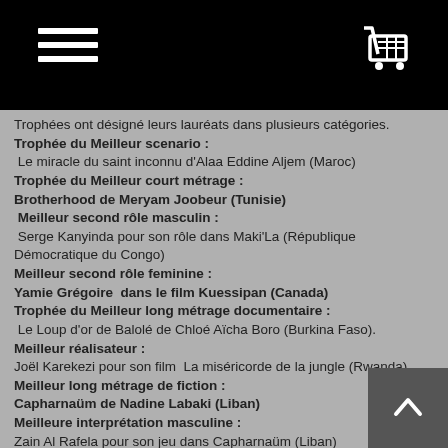Trophées ont désigné leurs lauréats dans plusieurs catégories.
Trophée du Meilleur scenario :
Le miracle du saint inconnu d'Alaa Eddine Aljem (Maroc)
Trophée du Meilleur court métrage :
Brotherhood de Meryam Joobeur (Tunisie)
Meilleur second rôle masculin :
Serge Kanyinda pour son rôle dans Maki'La (République Démocratique du Congo)
Meilleur second rôle feminine :
Yamie Grégoire  dans le film Kuessipan (Canada)
Trophée du Meilleur long métrage documentaire :
Le Loup d'or de Balolé de Chloé Aïcha Boro (Burkina Faso).
Meilleur réalisateur :
Joël Karekezi pour son film  La miséricorde de la jungle (Rwanda)
Meilleur long métrage de fiction :
Capharnaüm de Nadine Labaki (Liban)
Meilleure interprétation masculine :
Zain Al Rafela pour son jeu dans Capharnaüm (Liban)
Meilleure interprétation féminine :
Hend Sabri dans Noura rêve (Tunisie)